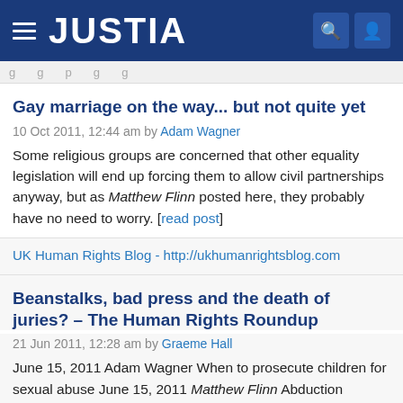JUSTIA
Gay marriage on the way... but not quite yet
10 Oct 2011, 12:44 am by Adam Wagner
Some religious groups are concerned that other equality legislation will end up forcing them to allow civil partnerships anyway, but as Matthew Flinn posted here, they probably have no need to worry. [read post]
UK Human Rights Blog - http://ukhumanrightsblog.com
Beanstalks, bad press and the death of juries? – The Human Rights Roundup
21 Jun 2011, 12:28 am by Graeme Hall
June 15, 2011 Adam Wagner When to prosecute children for sexual abuse June 15, 2011 Matthew Flinn Abduction